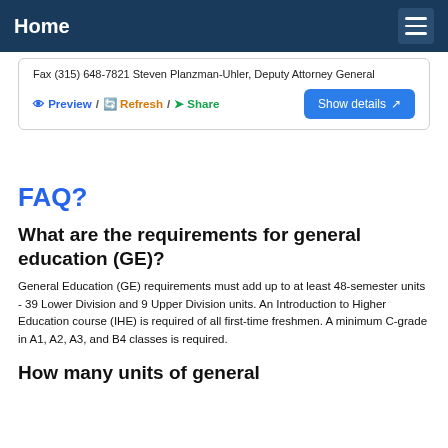Home
Fax (315) 648-7821 Steven Planzman-Uhler, Deputy Attorney General
Preview / Refresh / Share
FAQ?
What are the requirements for general education (GE)?
General Education (GE) requirements must add up to at least 48-semester units - 39 Lower Division and 9 Upper Division units. An Introduction to Higher Education course (IHE) is required of all first-time freshmen. A minimum C-grade in A1, A2, A3, and B4 classes is required.
How many units of general